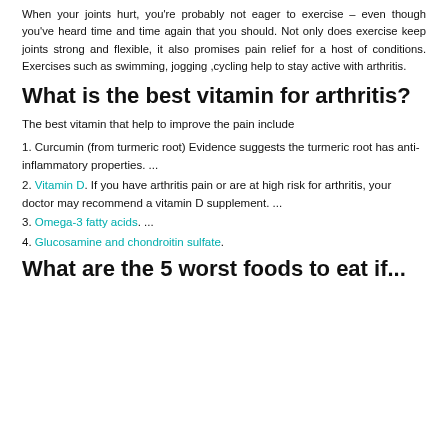When your joints hurt, you're probably not eager to exercise – even though you've heard time and time again that you should. Not only does exercise keep joints strong and flexible, it also promises pain relief for a host of conditions. Exercises such as swimming, jogging ,cycling help to stay active with arthritis.
What is the best vitamin for arthritis?
The best vitamin that help to improve the pain include
1. Curcumin (from turmeric root) Evidence suggests the turmeric root has anti-inflammatory properties. ...
2. Vitamin D. If you have arthritis pain or are at high risk for arthritis, your doctor may recommend a vitamin D supplement. ...
3. Omega-3 fatty acids. ...
4. Glucosamine and chondroitin sulfate.
What are the 5 worst foods to eat if...